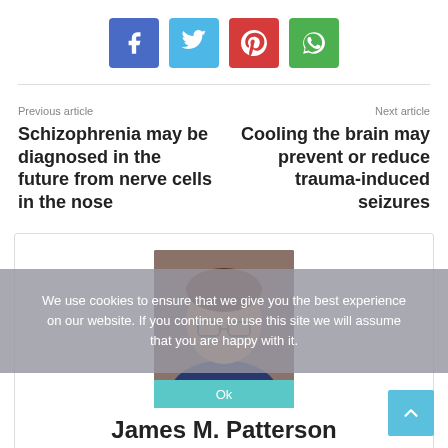[Figure (infographic): Social sharing buttons row: Facebook (blue), Twitter (cyan), Pinterest (red), WhatsApp (green)]
Previous article
Schizophrenia may be diagnosed in the future from nerve cells in the nose
Next article
Cooling the brain may prevent or reduce trauma-induced seizures
[Figure (photo): Portrait photo of James M. Patterson, author]
We use cookies to ensure that we give you the best experience on our website. If you continue to use this site we will assume that you are happy with it.
James M. Patterson